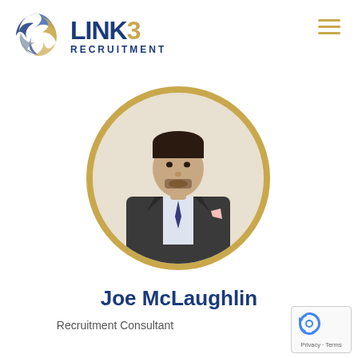[Figure (logo): Link3 Recruitment logo with swirl icon and text LINK3 RECRUITMENT]
[Figure (photo): Circular portrait photo of Joe McLaughlin, a man in a dark suit with a pink pocket square and navy tie, with a gold circular border]
Joe McLaughlin
Recruitment Consultant